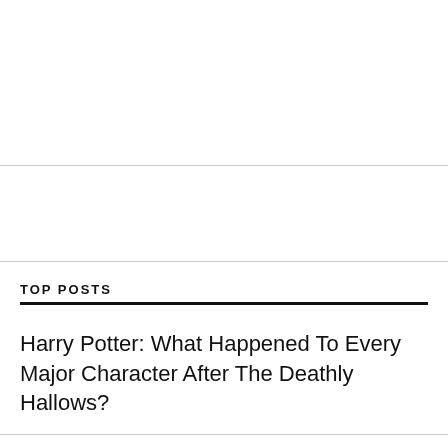TOP POSTS
Harry Potter: What Happened To Every Major Character After The Deathly Hallows?
Harry Potter: 5 Ways The Books Are Better Than